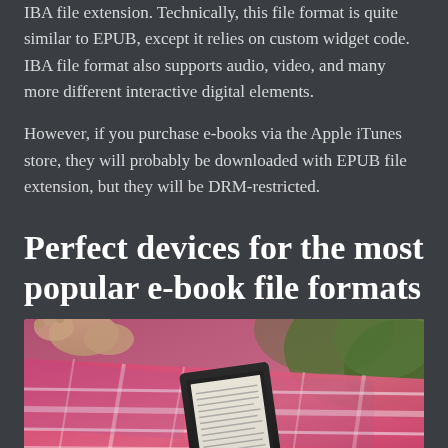IBA file extension. Technically, this file format is quite similar to EPUB, except it relies on custom widget code. IBA file format also supports audio, video, and many more different interactive digital elements.
However, if you purchase e-books via the Apple iTunes store, they will probably be downloaded with EPUB file extension, but they will be DRM-restricted.
Perfect devices for the most popular e-book file formats
[Figure (photo): Person lying in a hammock holding a Kindle e-reader, reading outdoors. The hammock has a pink and white plaid pattern. The background shows greenery.]